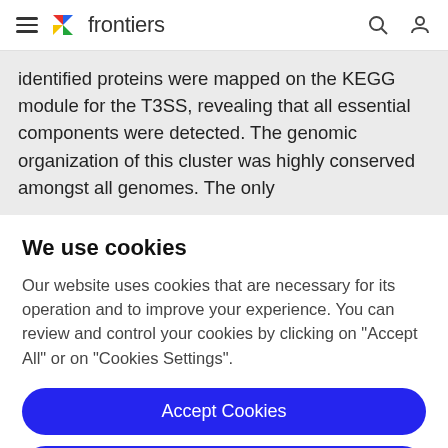frontiers
identified proteins were mapped on the KEGG module for the T3SS, revealing that all essential components were detected. The genomic organization of this cluster was highly conserved amongst all genomes. The only
We use cookies
Our website uses cookies that are necessary for its operation and to improve your experience. You can review and control your cookies by clicking on "Accept All" or on "Cookies Settings".
Accept Cookies
Cookies Settings